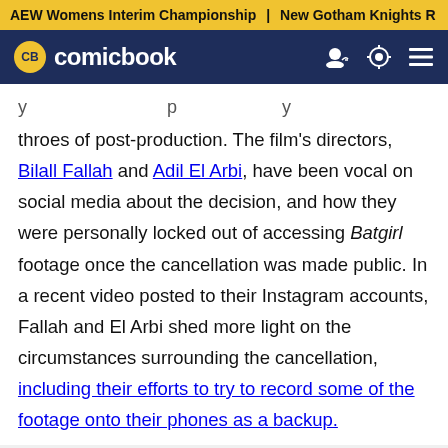AEW Womens Interim Championship | New Gotham Knights R
CB comicbook
throes of post-production. The film's directors, Bilall Fallah and Adil El Arbi, have been vocal on social media about the decision, and how they were personally locked out of accessing Batgirl footage once the cancellation was made public. In a recent video posted to their Instagram accounts, Fallah and El Arbi shed more light on the circumstances surrounding the cancellation, including their efforts to try to record some of the footage onto their phones as a backup.